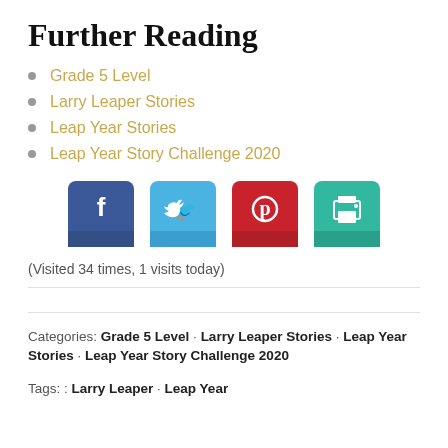Further Reading
Grade 5 Level
Larry Leaper Stories
Leap Year Stories
Leap Year Story Challenge 2020
[Figure (infographic): Four social sharing buttons: Facebook (dark blue), Twitter (light blue), Pinterest (red), Print (teal)]
(Visited 34 times, 1 visits today)
Categories: Grade 5 Level · Larry Leaper Stories · Leap Year Stories · Leap Year Story Challenge 2020
Tags: : Larry Leaper · Leap Year